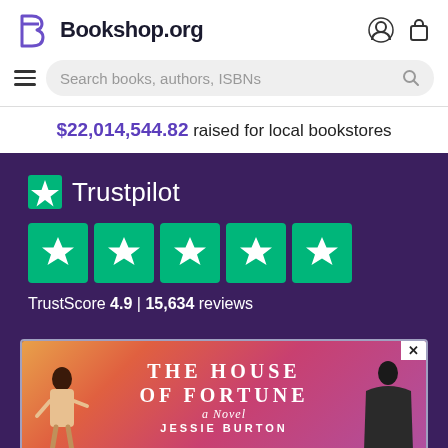Bookshop.org
$22,014,544.82 raised for local bookstores
[Figure (logo): Trustpilot logo with green star and name, followed by 5 green star rating boxes, and TrustScore 4.9 | 15,634 reviews text]
[Figure (screenshot): Book advertisement for 'The House of Fortune - A Novel' by Jessie Burton with coral/pink gradient background and figure silhouettes]